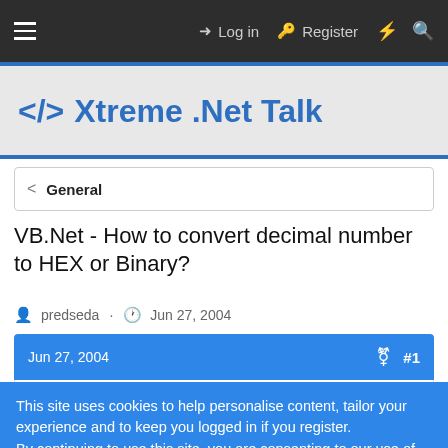Log in  Register
Xtreme .Net Talk
< General
VB.Net - How to convert decimal number to HEX or Binary?
predseda · Jun 27, 2004
Jun 27, 2004  #1
This site uses cookies to help personalise content, tailor your experience and to keep you logged in if you register.
By continuing to use this site, you are consenting to our use of cookies.
✓ Accept  Learn more...